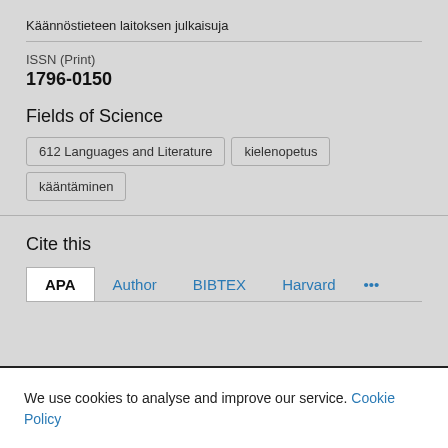Käännöstieteen laitoksen julkaisuja
ISSN (Print)
1796-0150
Fields of Science
612 Languages and Literature
kielenopetus
kääntäminen
Cite this
APA  Author  BIBTEX  Harvard  ...
We use cookies to analyse and improve our service. Cookie Policy